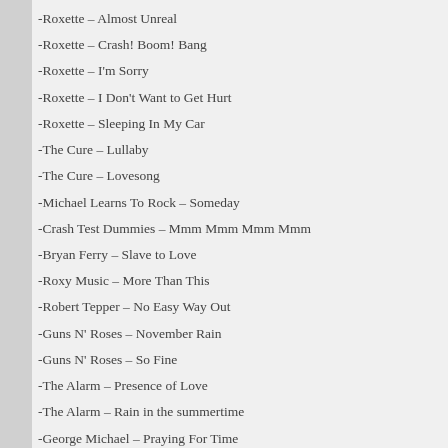-Roxette – Almost Unreal
-Roxette – Crash! Boom! Bang
-Roxette – I'm Sorry
-Roxette – I Don't Want to Get Hurt
-Roxette – Sleeping In My Car
-The Cure – Lullaby
-The Cure – Lovesong
-Michael Learns To Rock – Someday
-Crash Test Dummies – Mmm Mmm Mmm Mmm
-Bryan Ferry – Slave to Love
-Roxy Music – More Than This
-Robert Tepper – No Easy Way Out
-Guns N' Roses – November Rain
-Guns N' Roses – So Fine
-The Alarm – Presence of Love
-The Alarm – Rain in the summertime
-George Michael – Praying For Time
-George Michael – Father Figure
-New Order – Regret